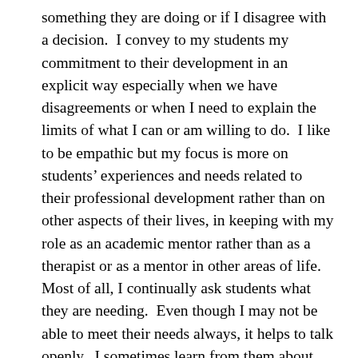something they are doing or if I disagree with a decision.  I convey to my students my commitment to their development in an explicit way especially when we have disagreements or when I need to explain the limits of what I can or am willing to do.  I like to be empathic but my focus is more on students' experiences and needs related to their professional development rather than on other aspects of their lives, in keeping with my role as an academic mentor rather than as a therapist or as a mentor in other areas of life.   Most of all, I continually ask students what they are needing.  Even though I may not be able to meet their needs always, it helps to talk openly.  I sometimes learn from them about needs that I did not know about or learn from them how best to mentor them through different obstacles.  I try to show them that I think about them, value them, and care about their